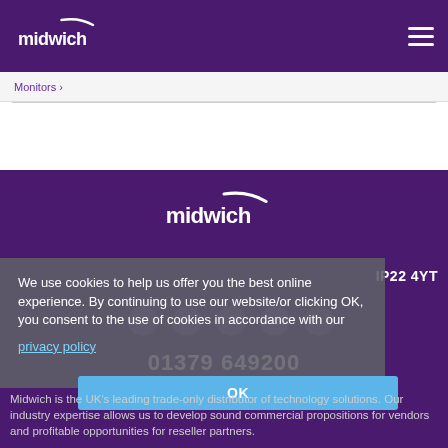midwich
Monitors
[Figure (logo): Midwich logo centered on purple background]
We use cookies to help us offer you the best online experience. By continuing to use our website/or clicking OK, you consent to the use of cookies in accordance with our privacy policy
IP22 4YT
01379 649200
OK
Midwich is the UK's leading trade-only distributor of technology solutions. Our industry expertise allows us to develop sound commercial propositions for vendors and profitable opportunities for reseller partners.